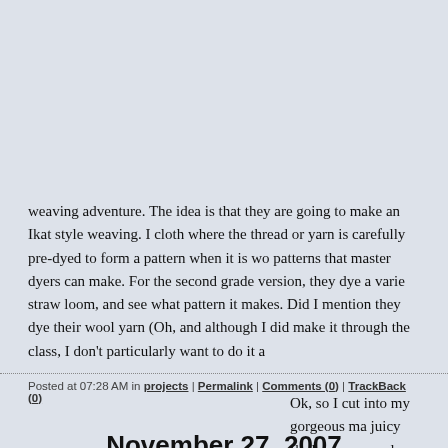weaving adventure. The idea is that they are going to make an Ikat style weaving. I cloth where the thread or yarn is carefully pre-dyed to form a pattern when it is wo patterns that master dyers can make. For the second grade version, they dye a varie straw loom, and see what pattern it makes. Did I mention they dye their wool yarn (Oh, and although I did make it through the class, I don't particularly want to do it a
Posted at 07:28 AM in projects | Permalink | Comments (0) | TrackBack (0)
November 27, 2007
sad mandarin kumquat update
Ok, so I cut into my gorgeous ma juicy flesh has a complex, tart, ric